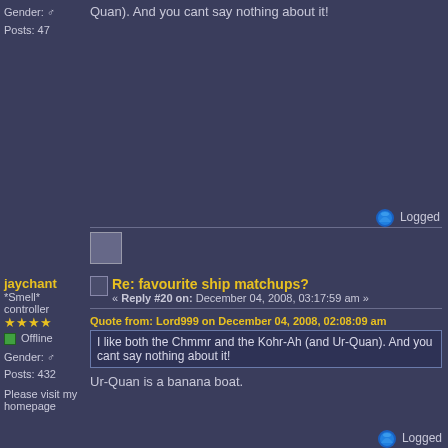Gender: Male
Posts: 47
Quan). And you cant say nothing about it!
Logged
jaychant
*Smell* controller
Offline
Gender: Male
Posts: 432
Please visit my homepage
Re: favourite ship matchups?
« Reply #20 on: December 04, 2008, 03:17:59 am »
Quote from: Lord999 on December 04, 2008, 02:08:09 am
I like both the Chmmr and the Kohr-Ah (and Ur-Quan). And you cant say nothing about it!
Ur-Quan is a banana boat.
Logged
Please visit my homepage.
Glory_device
Frungy champion
Offline
Gender: Male
Posts: 66
Re: favourite ship matchups?
« Reply #21 on: December 04, 2008, 06:22:02 am »
the easy ur-quan is...harder than the impossible one. One simple reason...he don't send his fighter to his doom!